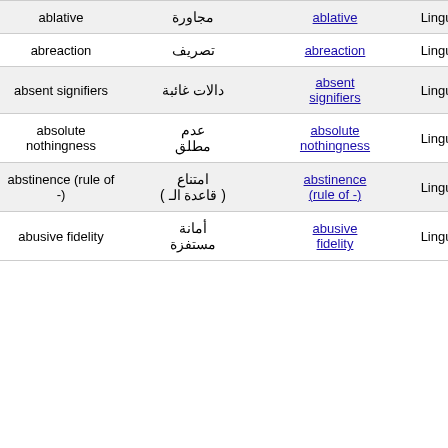| English | Arabic | Link | Domain |
| --- | --- | --- | --- |
| ablative | مجاورة | ablative | Linguistics |
| abreaction | تصريف | abreaction | Linguistics |
| absent signifiers | دالات غائبة | absent signifiers | Linguistics |
| absolute nothingness | عدم مطلق | absolute nothingness | Linguistics |
| abstinence (rule of -) | امتناع ( قاعدة الـ ) | abstinence (rule of -) | Linguistics |
| abusive fidelity | أمانة مستفزة | abusive fidelity | Linguistics |